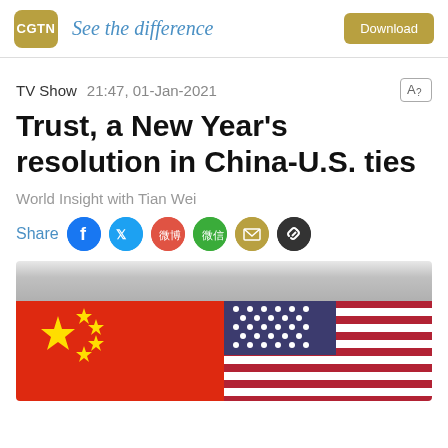CGTN — See the difference — Download
TV Show   21:47, 01-Jan-2021
Trust, a New Year's resolution in China-U.S. ties
World Insight with Tian Wei
Share
[Figure (photo): Chinese and American flags side by side against a silver metallic background. Left half shows the red Chinese flag with yellow stars; right half shows the American flag with stars and stripes.]